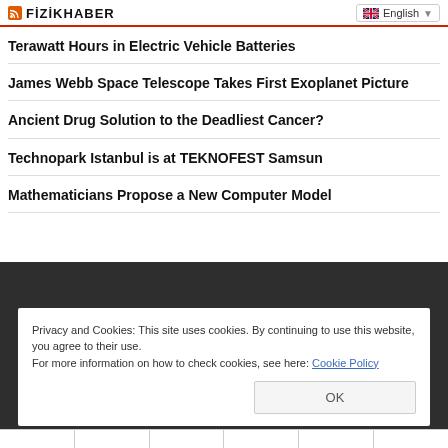FİZİKHABER | English
Terawatt Hours in Electric Vehicle Batteries
James Webb Space Telescope Takes First Exoplanet Picture
Ancient Drug Solution to the Deadliest Cancer?
Technopark Istanbul is at TEKNOFEST Samsun
Mathematicians Propose a New Computer Model
Privacy and Cookies: This site uses cookies. By continuing to use this website, you agree to their use. For more information on how to check cookies, see here: Cookie Policy
OK